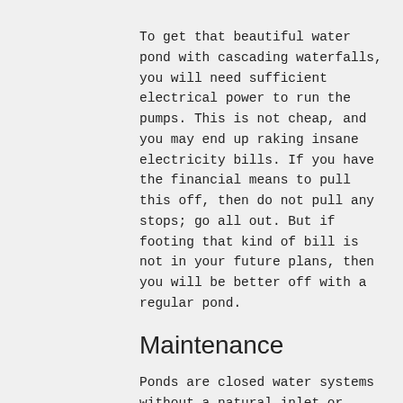To get that beautiful water pond with cascading waterfalls, you will need sufficient electrical power to run the pumps. This is not cheap, and you may end up raking insane electricity bills. If you have the financial means to pull this off, then do not pull any stops; go all out. But if footing that kind of bill is not in your future plans, then you will be better off with a regular pond.
Maintenance
Ponds are closed water systems without a natural inlet or outlet. Unlike oceans, lakes, and rivers that can self-clean over time, a pond will need human intervention as far as maintenance efforts go. From pond filtration, cleaning the water, or getting rid of discoloration, most of these will need to be done manually.
You will have to invest in basket skimmers, all kinds